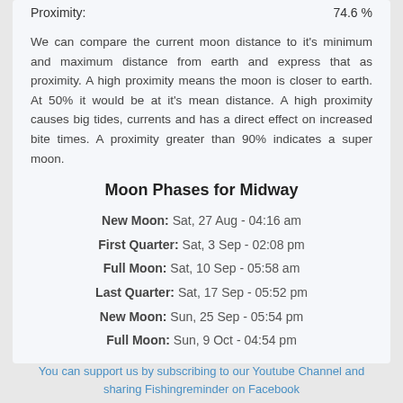Proximity: 74.6 %
We can compare the current moon distance to it's minimum and maximum distance from earth and express that as proximity. A high proximity means the moon is closer to earth. At 50% it would be at it's mean distance. A high proximity causes big tides, currents and has a direct effect on increased bite times. A proximity greater than 90% indicates a super moon.
Moon Phases for Midway
New Moon: Sat, 27 Aug - 04:16 am
First Quarter: Sat, 3 Sep - 02:08 pm
Full Moon: Sat, 10 Sep - 05:58 am
Last Quarter: Sat, 17 Sep - 05:52 pm
New Moon: Sun, 25 Sep - 05:54 pm
Full Moon: Sun, 9 Oct - 04:54 pm
You can support us by subscribing to our Youtube Channel and sharing Fishingreminder on Facebook